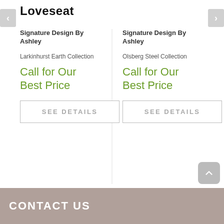Loveseat
Signature Design By Ashley
Larkinhurst Earth Collection
Call for Our Best Price
Signature Design By Ashley
Olsberg Steel Collection
Call for Our Best Price
CONTACT US